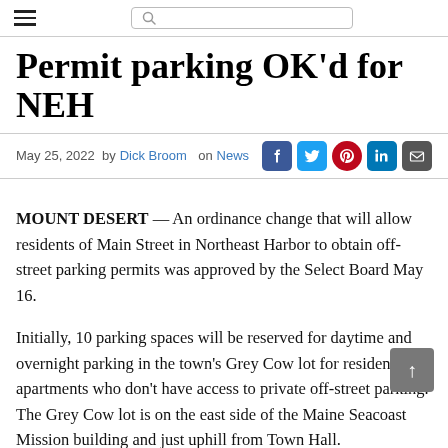≡  🔍
Permit parking OK'd for NEH
May 25, 2022  by Dick Broom  on News
MOUNT DESERT — An ordinance change that will allow residents of Main Street in Northeast Harbor to obtain off-street parking permits was approved by the Select Board May 16.
Initially, 10 parking spaces will be reserved for daytime and overnight parking in the town's Grey Cow lot for residents of apartments who don't have access to private off-street parking. The Grey Cow lot is on the east side of the Maine Seacoast Mission building and just uphill from Town Hall.
There are apartments above several stores on Main Street.